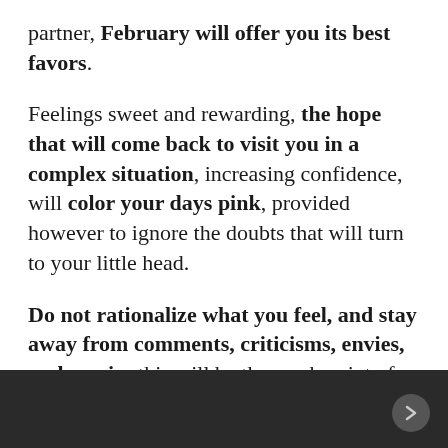partner, February will offer you its best favors.
Feelings sweet and rewarding, the hope that will come back to visit you in a complex situation, increasing confidence, will color your days pink, provided however to ignore the doubts that will turn to your little head.
Do not rationalize what you feel, and stay away from comments, criticisms, envies, and gossip: this will be the weak point of a period that could allow you to make an important change.